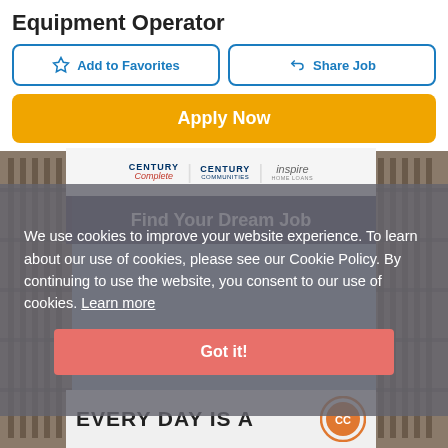Equipment Operator
Add to Favorites
Share Job
Apply Now
[Figure (screenshot): Century Complete, Century Communities, and Inspire Home Loans logos on a light background strip]
Find Your Dream Job
We use cookies to improve your website experience. To learn about our use of cookies, please see our Cookie Policy. By continuing to use the website, you consent to our use of cookies. Learn more
Got it!
EVERY DAY IS A